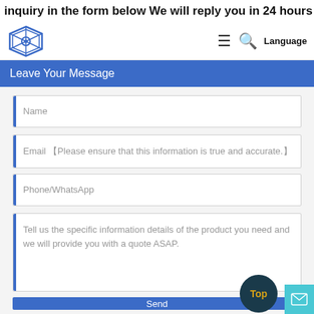inquiry in the form below We will reply you in 24 hours
[Figure (logo): Star-shaped logo icon with eye in center, blue color]
≡  🔍  Language
Leave Your Message
Name
Email 【Please ensure that this information is true and accurate.】
Phone/WhatsApp
Tell us the specific information details of the product you need and we will provide you with a quote ASAP.
Send